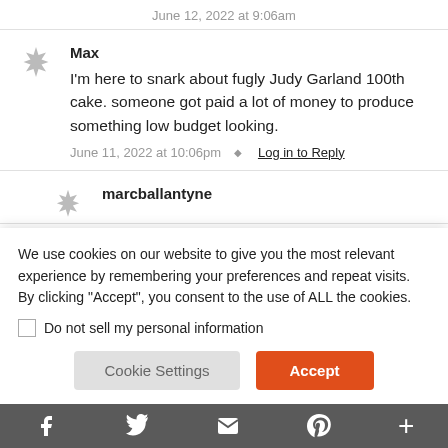June 12, 2022 at 9:06am
Max
I'm here to snark about fugly Judy Garland 100th cake. someone got paid a lot of money to produce something low budget looking.
June 11, 2022 at 10:06pm  Log in to Reply
marcballantyne
We use cookies on our website to give you the most relevant experience by remembering your preferences and repeat visits. By clicking "Accept", you consent to the use of ALL the cookies.
Do not sell my personal information
Cookie Settings
Accept